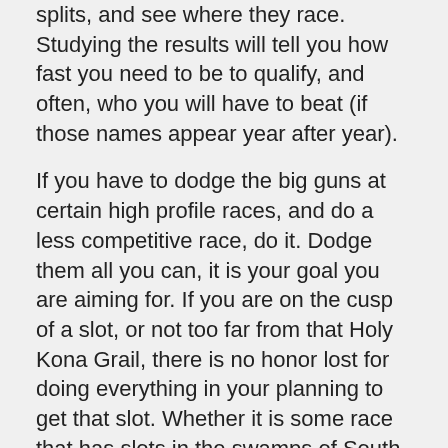splits, and see where they race. Studying the results will tell you how fast you need to be to qualify, and often, who you will have to beat (if those names appear year after year).
If you have to dodge the big guns at certain high profile races, and do a less competitive race, do it. Dodge them all you can, it is your goal you are aiming for. If you are on the cusp of a slot, or not too far from that Holy Kona Grail, there is no honor lost for doing everything in your planning to get that slot. Whether it is some race that has slots in the swamps of South America or a remote island. Provided you get that slot, you'll have all the chance in the world come October to race the big guns.
Location, location, location
I cannot stress enough how important it is to pick a race that suits your abilities the best, as well as those with the least chances of the big guns showing up on race day. Sounds chicken, but it is your time, your money, and your goal—achieve it like a smart athlete. Nobody will remember or care where you qualified at, or who was